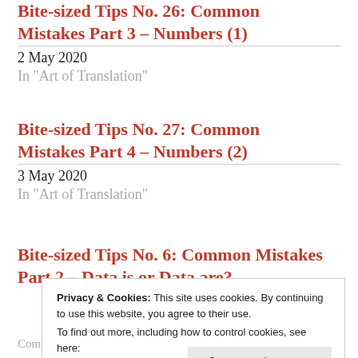Bite-sized Tips No. 26: Common Mistakes Part 3 – Numbers (1)
2 May 2020
In "Art of Translation"
Bite-sized Tips No. 27: Common Mistakes Part 4 – Numbers (2)
3 May 2020
In "Art of Translation"
Bite-sized Tips No. 6: Common Mistakes Part 2 – Data is or Data are?
Privacy & Cookies: This site uses cookies. By continuing to use this website, you agree to their use.
To find out more, including how to control cookies, see here:
Cookie Policy
Close and accept